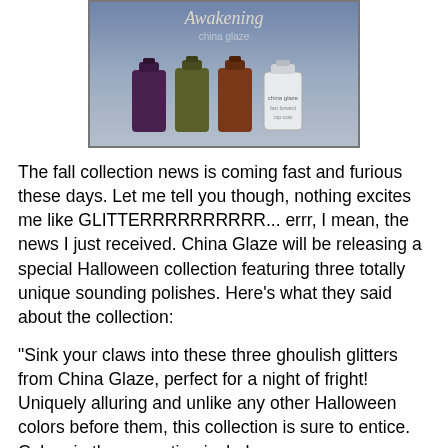[Figure (photo): China Glaze nail polish bottles from the Awakening Halloween collection, showing dark purple, olive green, copper/brown, and white bottles arranged in a row against a blue-grey background with the brand name visible at top.]
The fall collection news is coming fast and furious these days. Let me tell you though, nothing excites me like GLITTERRRRRRRRRR... errr, I mean, the news I just received. China Glaze will be releasing a special Halloween collection featuring three totally unique sounding polishes. Here's what they said about the collection:
"Sink your claws into these three ghoulish glitters from China Glaze, perfect for a night of fright! Uniquely alluring and unlike any other Halloween colors before them, this collection is sure to entice. Colors in the promotion include:
· Zombie Zest: A mossy green shade with gold flecks of micro glitter.